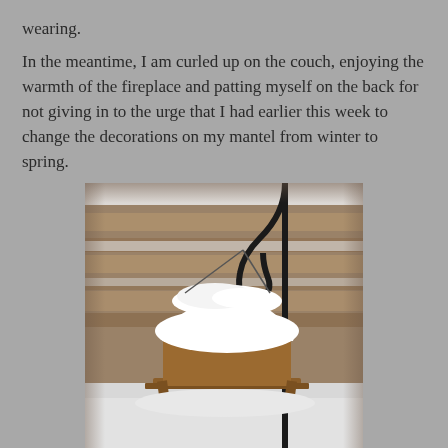wearing.
In the meantime, I am curled up on the couch, enjoying the warmth of the fireplace and patting myself on the back for not giving in to the urge that I had earlier this week to change the decorations on my mantel from winter to spring.
[Figure (photo): A snow-covered wooden bird feeder hanging from a curved black metal shepherd's hook pole, with a wooden fence covered in snow in the background. The bird feeder has a heavy mound of white snow on its roof.]